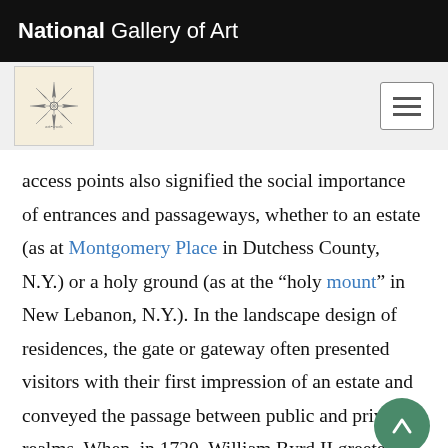National Gallery of Art
[Figure (logo): Small decorative logo icon with star/compass design on cream background]
access points also signified the social importance of entrances and passageways, whether to an estate (as at Montgomery Place in Dutchess County, N.Y.) or a holy ground (as at the “holy mount” in New Lebanon, N.Y.). In the landscape design of residences, the gate or gateway often presented visitors with their first impression of an estate and conveyed the passage between public and private realms. When, in 1720, William Byrd II greeted honored guests at Westover, Va., on the James River, he “received them at the out gate.” In images of residences, the gate was often in the foreground of the picture and was often shown